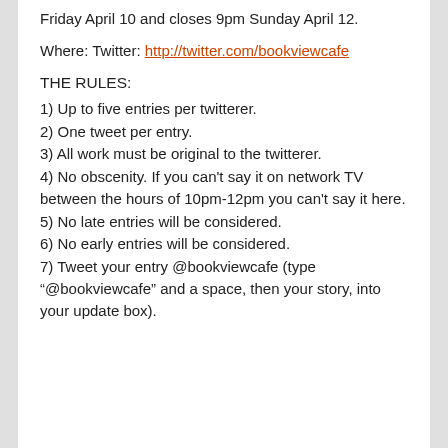Friday April 10 and closes 9pm Sunday April 12.
Where: Twitter: http://twitter.com/bookviewcafe
THE RULES:
1) Up to five entries per twitterer.
2) One tweet per entry.
3) All work must be original to the twitterer.
4) No obscenity. If you can't say it on network TV between the hours of 10pm-12pm you can't say it here.
5) No late entries will be considered.
6) No early entries will be considered.
7) Tweet your entry @bookviewcafe (type “@bookviewcafe” and a space, then your story, into your update box).